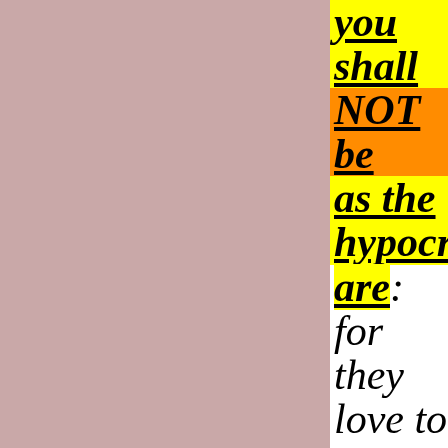[Figure (other): Large mauve/dusty rose colored rectangle occupying the left two-thirds of the page]
you shall NOT be as the hypocrites are: for they love to pray standing in the synagogu